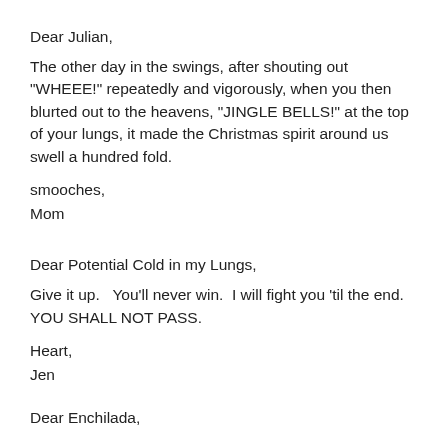Dear Julian,
The other day in the swings, after shouting out "WHEEE!" repeatedly and vigorously, when you then blurted out to the heavens, "JINGLE BELLS!" at the top of your lungs, it made the Christmas spirit around us swell a hundred fold.
smooches,
Mom
Dear Potential Cold in my Lungs,
Give it up.   You'll never win.  I will fight you 'til the end. YOU SHALL NOT PASS.
Heart,
Jen
Dear Enchilada,